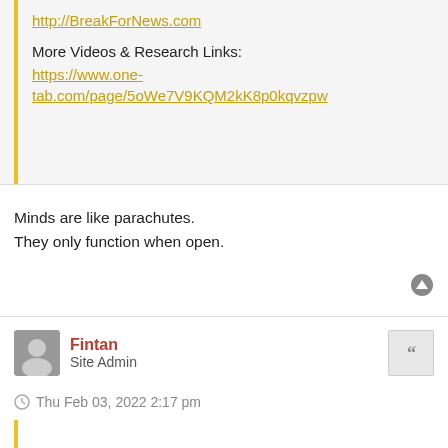http://BreakForNews.com
More Videos & Research Links:
https://www.one-tab.com/page/5oWe7V9KQM2kK8p0kqvzpw
Minds are like parachutes.
They only function when open.
Fintan
Site Admin
Thu Feb 03, 2022 2:17 pm